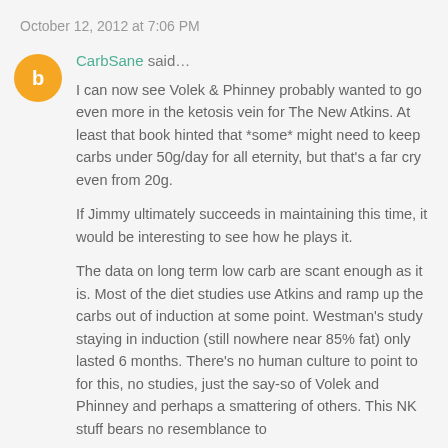October 12, 2012 at 7:06 PM
CarbSane said…
I can now see Volek & Phinney probably wanted to go even more in the ketosis vein for The New Atkins. At least that book hinted that *some* might need to keep carbs under 50g/day for all eternity, but that's a far cry even from 20g.
If Jimmy ultimately succeeds in maintaining this time, it would be interesting to see how he plays it.
The data on long term low carb are scant enough as it is. Most of the diet studies use Atkins and ramp up the carbs out of induction at some point. Westman's study staying in induction (still nowhere near 85% fat) only lasted 6 months. There's no human culture to point to for this, no studies, just the say-so of Volek and Phinney and perhaps a smattering of others. This NK stuff bears no resemblance to